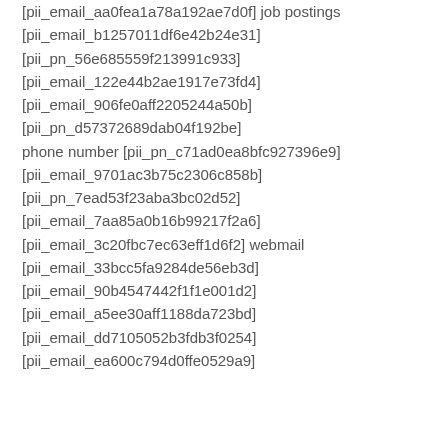[pii_email_aa0fea1a78a192ae7d0f] job postings
[pii_email_b1257011df6e42b24e31]
[pii_pn_56e685559f213991c933]
[pii_email_122e44b2ae1917e73fd4]
[pii_email_906fe0aff2205244a50b]
[pii_pn_d57372689dab04f192be]
phone number [pii_pn_c71ad0ea8bfc927396e9]
[pii_email_9701ac3b75c2306c858b]
[pii_pn_7ead53f23aba3bc02d52]
[pii_email_7aa85a0b16b99217f2a6]
[pii_email_3c20fbc7ec63eff1d6f2] webmail
[pii_email_33bcc5fa9284de56eb3d]
[pii_email_90b4547442f1f1e001d2]
[pii_email_a5ee30aff1188da723bd]
[pii_email_dd7105052b3fdb3f0254]
[pii_email_ea600c794d0ffe0529a9]